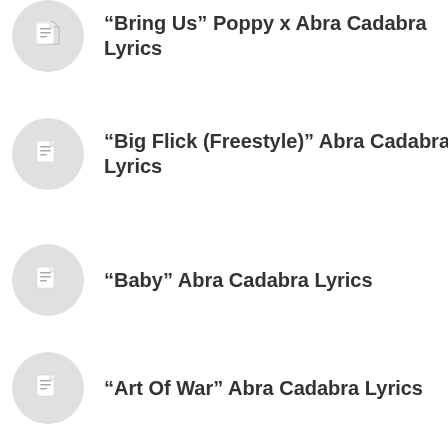“Bring Us” Poppy x Abra Cadabra Lyrics
“Big Flick (Freestyle)” Abra Cadabra Lyrics
“Baby” Abra Cadabra Lyrics
“Art Of War” Abra Cadabra Lyrics
“Mixed Emotions” Abra Cadabra Lyrics
“Abra Interlude” Abra Cadabra Lyrics